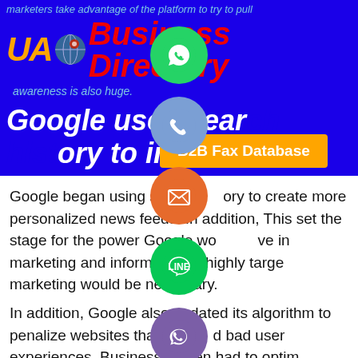marketers take advantage of the platform to try to pull
[Figure (logo): UAO Business Directory logo with orange UA text, globe icon, and red italic Business Directory text on blue background]
awareness is also huge.
Google uses search history to inform ads
[Figure (other): B2B Fax Database orange button with social media share icons (WhatsApp, phone, email, LINE, Viber, close)]
Google began using search history to create more personalized news feeds. In addition, This set the stage for the power Google would have in marketing and informed how highly targeted marketing would be necessary.
In addition, Google also updated its algorithm to penalize websites that provided bad user experiences. Businesses then had to optimize their sites so that they